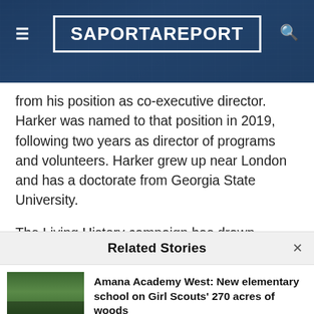[Figure (logo): SaportaReport website header with logo in white box on dark blue aerial city background, hamburger menu icon on left, search icon on right]
from his position as co-executive director. Harker was named to that position in 2019, following two years as director of programs and volunteers. Harker grew up near London and has a doctorate from Georgia State University.
The Living History campaign has drawn support from more than 225 donors through a campaign committee co-chaired by Valerie Jackson, widow
Related Stories
[Figure (photo): Thumbnail photo of a wooded path or boardwalk surrounded by trees]
Amana Academy West: New elementary school on Girl Scouts' 270 acres of woods